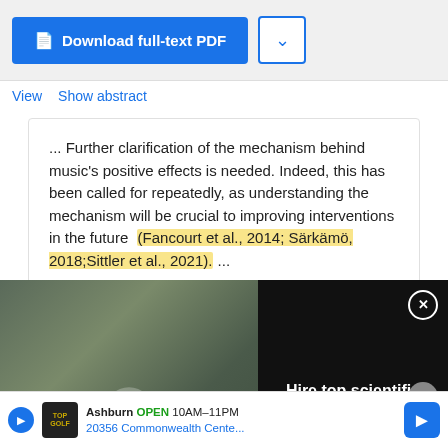[Figure (screenshot): ResearchGate interface showing a 'Download full-text PDF' blue button and a dropdown chevron button]
View   Show abstract
... Further clarification of the mechanism behind music's positive effects is needed. Indeed, this has been called for repeatedly, as understanding the mechanism will be crucial to improving interventions in the future (Fancourt et al., 2014; Särkämö, 2018;Sittler et al., 2021). ...
[Figure (photo): Video thumbnail showing scientists in lab coats taking a selfie with text overlay 'HIRE TOP SCIENTIFIC TALENT WITH RESEARCHGATE'. Right side shows text 'Hire top scientific talent with ResearchGate' with a close button.]
Lena Hofbauer · Sabrina D Ross · Francisca S Rodriguez
Advertisement
[Figure (screenshot): Bottom advertisement banner for TopGolf showing 'Ashburn OPEN 10AM–11PM 20356 Commonwealth Cente...' with a play button, logo, and blue arrow icon]